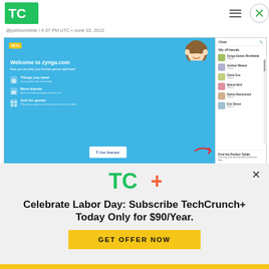TechCrunch
@joshconstine / 4:37 PM UTC • June 22, 2012
[Figure (screenshot): Screenshot of Zynga.com welcome page showing 'Welcome to zynga.com – Now you can play your favorite games right here!' with sections for Things you need, More friends, Just for games, a Get Started button, and a Facebook Chat sidebar with My zFriends list]
[Figure (logo): TC+ TechCrunch Plus logo in green and orange]
Celebrate Labor Day: Subscribe TechCrunch+ Today Only for $90/Year.
GET OFFER NOW